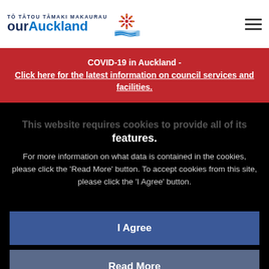[Figure (logo): Our Auckland logo with Māori text 'Tō Tātou Tāmaki Makaurau' above 'our Auckland' and a red pohutukawa flower icon]
COVID-19 in Auckland -
Click here for the latest information on council services and facilities.
This website requires cookies to provide all of its features.
For more information on what data is contained in the cookies, please click the 'Read More' button. To accept cookies from this site, please click the 'I Agree' button.
I Agree
Read More